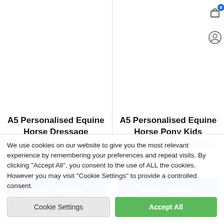[Figure (screenshot): E-commerce product listing page showing two product cards side by side. Left card: 'A5 Personalised Equine Horse Dressage Competition Log Book'. Right card: 'A5 Personalised Equine Horse Pony Kids Competition Log Book'. Both have star ratings, prices, and 'Select options' blue buttons. A cookie consent banner overlays the bottom with 'Cookie Settings' and 'Accept All' buttons.]
A5 Personalised Equine Horse Dressage Competition Log Book
A5 Personalised Equine Horse Pony Kids Competition Log Book
We use cookies on our website to give you the most relevant experience by remembering your preferences and repeat visits. By clicking "Accept All", you consent to the use of ALL the cookies. However you may visit "Cookie Settings" to provide a controlled consent.